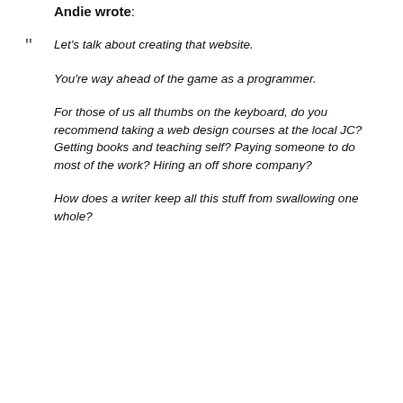Andie wrote:
Let's talk about creating that website.

You're way ahead of the game as a programmer.

For those of us all thumbs on the keyboard, do you recommend taking a web design courses at the local JC? Getting books and teaching self? Paying someone to do most of the work? Hiring an off shore company?

How does a writer keep all this stuff from swallowing one whole?